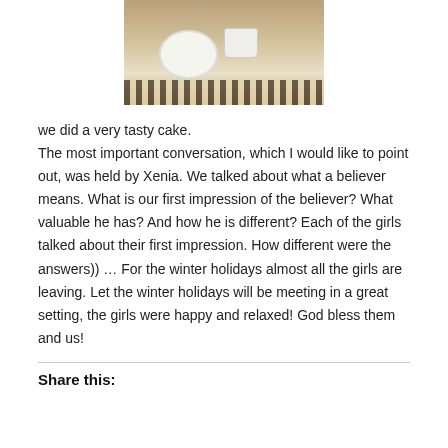[Figure (photo): Photo of a table setting with a white plate, cup, and zebra-print table runner]
we did a very tasty cake. The most important conversation, which I would like to point out, was held by Xenia. We talked about what a believer means. What is our first impression of the believer? What valuable he has? And how he is different? Each of the girls talked about their first impression. How different were the answers)) … For the winter holidays almost all the girls are leaving. Let the winter holidays will be meeting in a great setting, the girls were happy and relaxed! God bless them and us!
Share this: